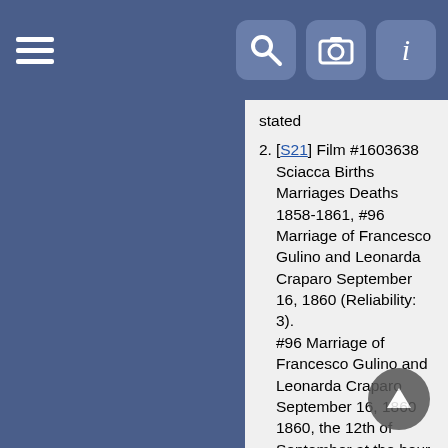Navigation bar with hamburger menu and icons
stated
[S21] Film #1603638 Sciacca Births Marriages Deaths 1858-1861, #96 Marriage of Francesco Gulino and Leonarda Craparo September 16, 1860 (Reliability: 3). #96 Marriage of Francesco Gulino and Leonarda Craparo September 16, 1860 1860, the 12th of September at the hour of 15 before Nicolo Lombardo, official of the vital records office of Sciacca appeared Francesco Gulino, single, 24, born in Sciacca, carpenter, son of Giacomo, age 60, and Giroloma Caracappa, age 50, and also appeared Leonarda Craparo, single, age 19, born in Sciacca, daughter of the late Francesco and the living Vincenza Mandracchia, age 50. They were married in the church of Sciacca on September 16, 1860 in the presence of Don Agostino Friscia and Don Vito Patella. Marriage banns were posted on August 12th in Sciacca. Documents provided are the birth records of the bride and groom, marriage banns, death record of father and grandfather of bride. Witnesses are Pasquale Manceri, Francesco Ciancimino, Giuseppe Niggio and Vincenzo Carlino.